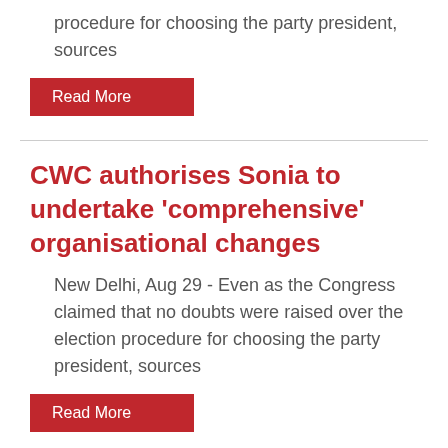procedure for choosing the party president, sources
Read More
CWC authorises Sonia to undertake 'comprehensive' organisational changes
New Delhi, Aug 29 - Even as the Congress claimed that no doubts were raised over the election procedure for choosing the party president, sources
Read More
Sonia Gandhi offers to 'step back' from top role, CWC turns down
New Delhi, Aug 29 - Even as the Congress claimed that no doubts were raised over the election...